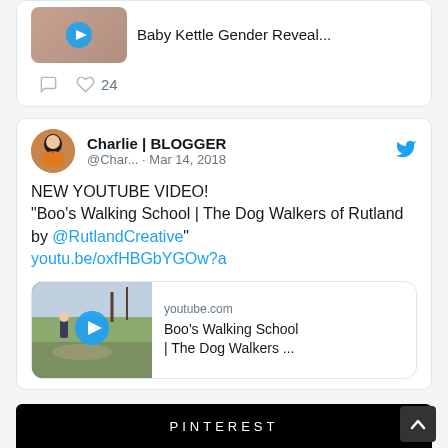[Figure (screenshot): Partial tweet card top with thumbnail image of gender reveal and action bar with comment icon and heart with count 24]
24
[Figure (screenshot): Tweet card from Charlie | BLOGGER @Char... Mar 14, 2018 with Twitter bird icon, avatar of person holding pumpkin]
NEW YOUTUBE VIDEO! "Boo's Walking School | The Dog Walkers of Rutland by @RutlandCreative" youtu.be/oxfHBGbYGOw?a
[Figure (screenshot): YouTube link preview card showing youtube.com, Boo's Walking School | The Dog Walkers ... with thumbnail of dog walkers and play button]
PINTEREST
[Figure (illustration): Scroll to top arrow button in dark box at bottom right]